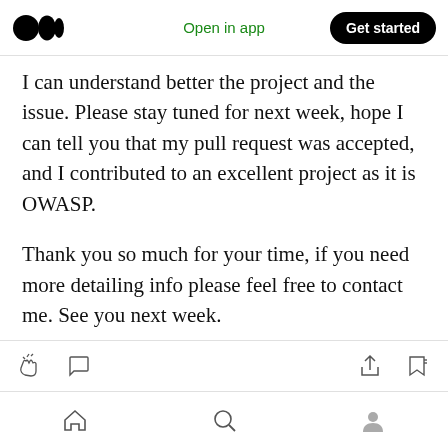Open in app  Get started
I can understand better the project and the issue. Please stay tuned for next week, hope I can tell you that my pull request was accepted, and I contributed to an excellent project as it is OWASP.
Thank you so much for your time, if you need more detailing info please feel free to contact me. See you next week.
[action icons: clap, comment, share, bookmark] [nav icons: home, search, profile]